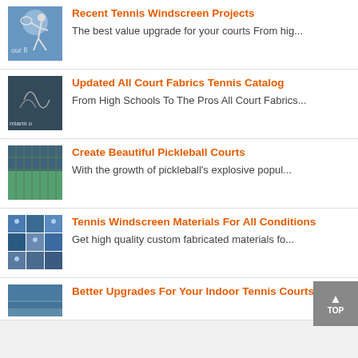Recent Tennis Windscreen Projects — The best value upgrade for your courts From hig...
Updated All Court Fabrics Tennis Catalog — From High Schools To The Pros All Court Fabrics...
Create Beautiful Pickleball Courts — With the growth of pickleball's explosive popul...
Tennis Windscreen Materials For All Conditions — Get high quality custom fabricated materials fo...
Better Upgrades For Your Indoor Tennis Courts — (truncated)